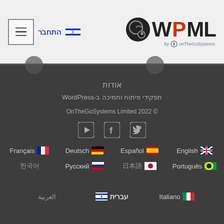התחבר | WPML by onTheGoSystems
אודות
תפקידי פיתוח ותמיכה ב-WordPress
OnTheGoSystems Limited 2022 ©
[Figure (other): Social media icons: YouTube, Facebook, Twitter]
Français 🇫🇷  Deutsch 🇩🇪  Español 🇪🇸  English 🇬🇧
한국어  Русский 🇷🇺  日本語 🇯🇵  Português 🇧🇷
العربية  עברית 🇮🇱  Italiano 🇮🇹